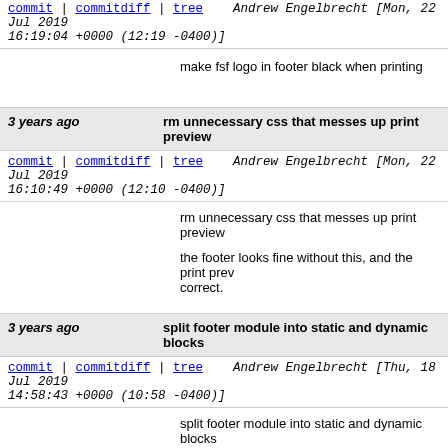commit | commitdiff | tree   Andrew Engelbrecht [Mon, 22 Jul 2019 16:19:04 +0000 (12:19 -0400)]
make fsf logo in footer black when printing
3 years ago   rm unnecessary css that messes up print preview
commit | commitdiff | tree   Andrew Engelbrecht [Mon, 22 Jul 2019 16:10:49 +0000 (12:10 -0400)]
rm unnecessary css that messes up print preview

the footer looks fine without this, and the print preview looks correct.
3 years ago   split footer module into static and dynamic blocks
commit | commitdiff | tree   Andrew Engelbrecht [Thu, 18 Jul 2019 14:58:43 +0000 (10:58 -0400)]
split footer module into static and dynamic blocks

the part of the footer with the list of links has been static block. the part of the footer with the copyright has been kept in the dynamic block. this should make edit the static block.